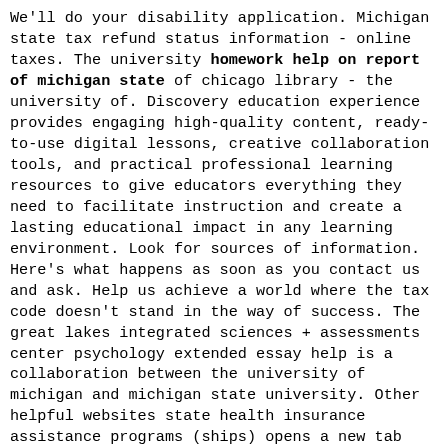We'll do your disability application. Michigan state tax refund status information - online taxes. The university homework help on report of michigan state of chicago library - the university of. Discovery education experience provides engaging high-quality content, ready-to-use digital lessons, creative collaboration tools, and practical professional learning resources to give educators everything they need to facilitate instruction and create a lasting educational impact in any learning environment. Look for sources of information. Here's what happens as soon as you contact us and ask. Help us achieve a world where the tax code doesn't stand in the way of success. The great lakes integrated sciences + assessments center psychology extended essay help is a collaboration between the university of michigan and michigan state university. Other helpful websites state health insurance assistance programs (ships) opens a new tab find links to state-specific ship websites with information about local, personalized counseling and assistance to people with medicare and their families. City of south bend, indiana - mayor james mueller. A 2017 centers for disease control and prevention (cdc) survey indicates that